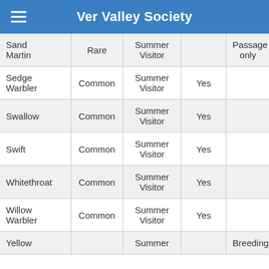Ver Valley Society
| Species | Status | Visit Type | Breeding | Notes |
| --- | --- | --- | --- | --- |
| Sand Martin | Rare | Summer Visitor |  | Passage only |
| Sedge Warbler | Common | Summer Visitor | Yes |  |
| Swallow | Common | Summer Visitor | Yes |  |
| Swift | Common | Summer Visitor | Yes |  |
| Whitethroat | Common | Summer Visitor | Yes |  |
| Willow Warbler | Common | Summer Visitor | Yes |  |
| Yellow... |  | Summer... |  | Breeding |